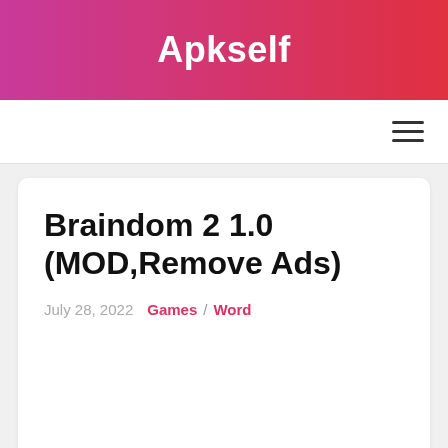Apkself
Braindom 2 1.0 (MOD,Remove Ads)
July 28, 2022   Games / Word